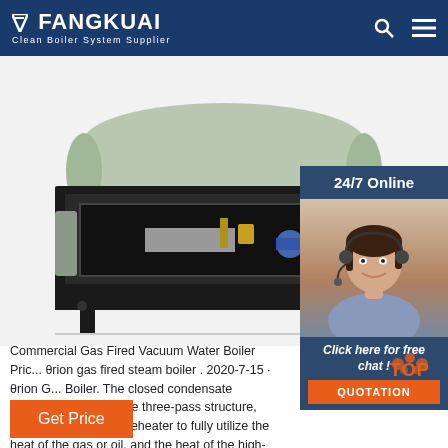FANGKUAI - Clean Boiler System Supplier
[Figure (photo): Commercial gas fired vacuum water boiler equipment photo showing industrial boiler with black metal frame and internal components visible]
[Figure (photo): 24/7 Online customer service agent - woman with headset smiling, with 'Click here for free chat!' and QUOTATION button overlay]
Commercial Gas Fired Vacuum Water Boiler Price. θrion gas fired steam boiler . 2020-7-15 · θrion Gas Fired Boiler. The closed condensate recovery system incorporates the three-pass structure, economizer and air preheater to fully utilize the heat of the gas or oil, and the heat of the high-temperature condensate is recovered from the source, which can save operating costs and improve boiler operating efficiency.
Get Price